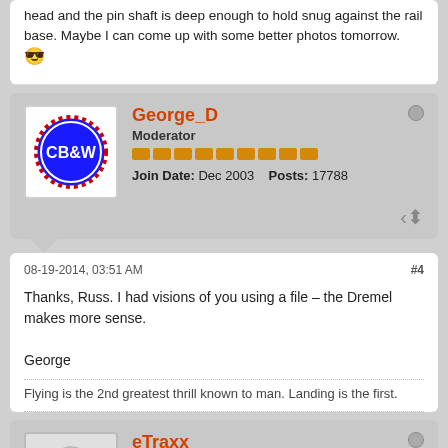head and the pin shaft is deep enough to hold snug against the rail base. Maybe I can come up with some better photos tomorrow. 😎
George_D
Moderator
Join Date: Dec 2003   Posts: 17788
08-19-2014, 03:51 AM
#4

Thanks, Russ. I had visions of you using a file – the Dremel makes more sense.

George
Flying is the 2nd greatest thrill known to man. Landing is the first.
eTraxx
Senior Member